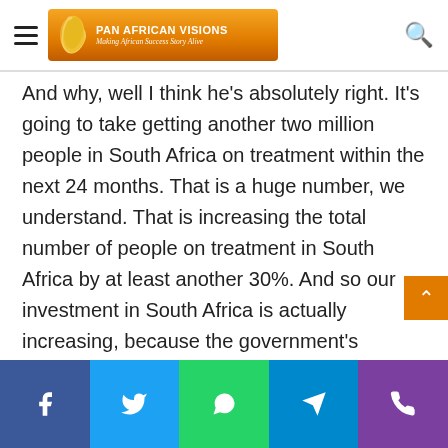Pan African Visions — Making Africa Success Story Alive
And why, well I think he's absolutely right. It's going to take getting another two million people in South Africa on treatment within the next 24 months. That is a huge number, we understand. That is increasing the total number of people on treatment in South Africa by at least another 30%. And so our investment in South Africa is actually increasing, because the government's commitment to addressing this epidemic, as their individual investment in addressing this epidemic, has been remarkable. And so we are supporting them in this, and they have remarkable political will right now to change the course of this pandemic.
I think, in addition to the dollars, the most important thing that gets us to success is political will from the highest level in the country. And I think the president talking about this, the